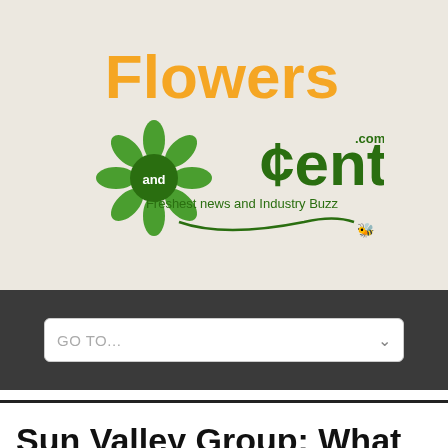[Figure (logo): FlowersandCents.com logo — 'Flowers' in orange, 'cents' in dark green with a cent symbol, a green sunflower, 'and' in white on dark green circle, tagline 'Freshest news and Industry Buzz' in green, bee icon, green swirl]
GO TO...
Sun Valley Group: What Happened To Admin